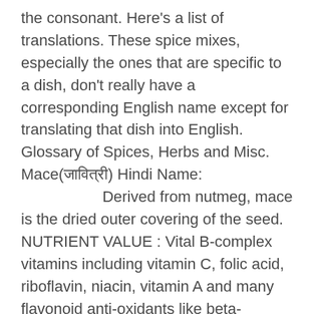the consonant. Here's a list of translations. These spice mixes, especially the ones that are specific to a dish, don't really have a corresponding English name except for translating that dish into English. Glossary of Spices, Herbs and Misc. Mace(जावित्री) Hindi Name:                   Derived from nutmeg, mace is the dried outer covering of the seed. NUTRIENT VALUE : Vital B-complex vitamins including vitamin C, folic acid, riboflavin, niacin, vitamin A and many flavonoid anti-oxidants like beta-carotene and cryptoxanthins that are essential for optimum health. Mace is rich in manganese and copper which are used by the body as co-factors for the antioxidant enzyme, superoxide dismutase. List of Masala Powders : Tamil Name Hindi Name English Name Garam Masala Garam Masala Spices Mixture Jeeragam Thul Jeera Masala Cumin … You can find about cinnamon, cloves,